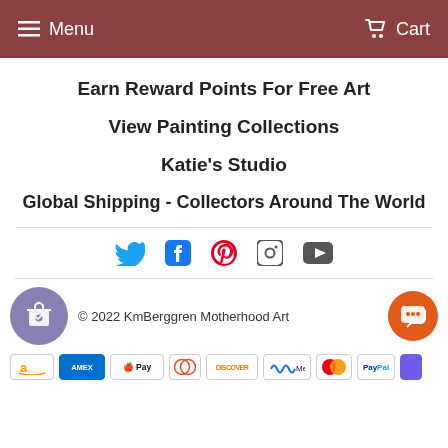Menu   Cart
Earn Reward Points For Free Art
View Painting Collections
Katie's Studio
Global Shipping - Collectors Around The World
[Figure (infographic): Social media icons: Twitter, Facebook, Pinterest, Instagram, YouTube]
[Figure (infographic): Shopping bag with heart badge icon (purple circle)]
© 2022 KmBerggren Motherhood Art
[Figure (infographic): Chat button (orange circle with speech bubble icon)]
[Figure (infographic): Payment icons: Amazon, Amex, Apple Pay, Diners, Discover, Meta Pay, Mastercard, PayPal, and one more]